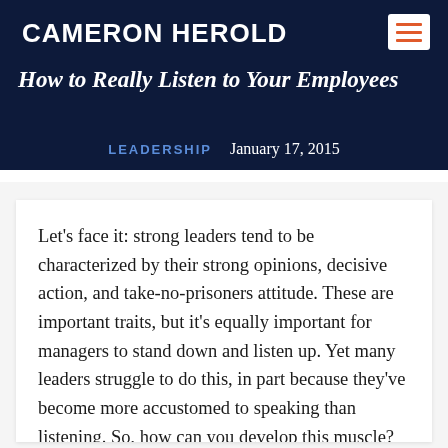CAMERON HEROLD
How to Really Listen to Your Employees
LEADERSHIP   January 17, 2015
Let's face it: strong leaders tend to be characterized by their strong opinions, decisive action, and take-no-prisoners attitude. These are important traits, but it's equally important for managers to stand down and listen up. Yet many leaders struggle to do this, in part because they've become more accustomed to speaking than listening. So, how can you develop this muscle? What are the barriers to good